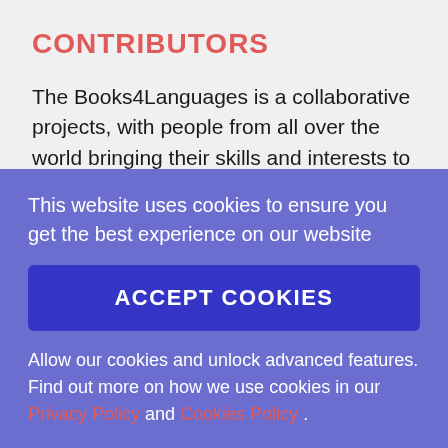CONTRIBUTORS
The Books4Languages is a collaborative projects, with people from all over the world bringing their skills and interests to join in the compilation and dissemination of knowledge to everyone, everywhere.
Translate the book in your language
This website uses cookies to ensure you get the best experience on our website
ACCEPT COOKIES
Allow our cookies and unlock advanced features. Find out more on how we use cookies in our Privacy Policy and Cookies Policy .